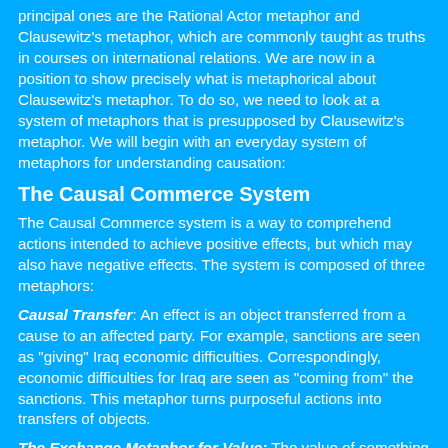principal ones are the Rational Actor metaphor and Clausewitz's metaphor, which are commonly taught as truths in courses on international relations. We are now in a position to show precisely what is metaphorical about Clausewitz's metaphor. To do so, we need to look at a system of metaphors that is presupposed by Clausewitz's metaphor. We will begin with an everyday system of metaphors for understanding causation:
The Causal Commerce System
The Causal Commerce system is a way to comprehend actions intended to achieve positive effects, but which may also have negative effects. The system is composed of three metaphors:
Causal Transfer: An effect is an object transferred from a cause to an affected party. For example, sanctions are seen as "giving" Iraq economic difficulties. Correspondingly, economic difficulties for Iraq are seen as "coming from" the sanctions. This metaphor turns purposeful actions into transfers of objects.
The Exchange Metaphor for Value: The value of something is what you are willing to exchange for it. Whenever we ask whether it is "worth" going to war to get Iraq out of Kuwait, we are using the Exchange Metaphor for Value plus the Causal Transfer metaphor.